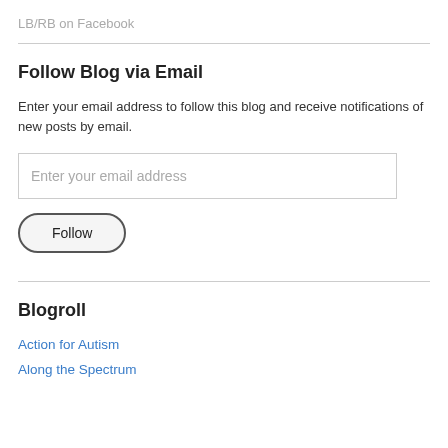LB/RB on Facebook
Follow Blog via Email
Enter your email address to follow this blog and receive notifications of new posts by email.
Enter your email address
Follow
Blogroll
Action for Autism
Along the Spectrum